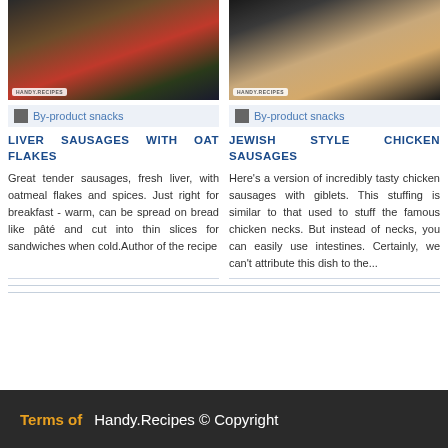[Figure (photo): Photo of liver sausages with oat flakes on a plate with herbs and tomatoes, with Handy Recipes logo badge]
[Figure (photo): Photo of Jewish style chicken sausages sliced on a plate, with Handy Recipes logo badge]
By-product snacks
By-product snacks
LIVER SAUSAGES WITH OAT FLAKES
JEWISH STYLE CHICKEN SAUSAGES
Great tender sausages, fresh liver, with oatmeal flakes and spices. Just right for breakfast - warm, can be spread on bread like pâté and cut into thin slices for sandwiches when cold.Author of the recipe
Here's a version of incredibly tasty chicken sausages with giblets. This stuffing is similar to that used to stuff the famous chicken necks. But instead of necks, you can easily use intestines. Certainly, we can't attribute this dish to the...
Terms of    Handy.Recipes © Copyright